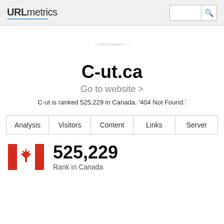URLmetrics
C-ut.ca
Go to website >
C-ut is ranked 525,229 in Canada. '404 Not Found.'
| Analysis | Visitors | Content | Links | Server |
| --- | --- | --- | --- | --- |
[Figure (illustration): Canadian flag icon - red and white with maple leaf]
525,229
Rank in Canada